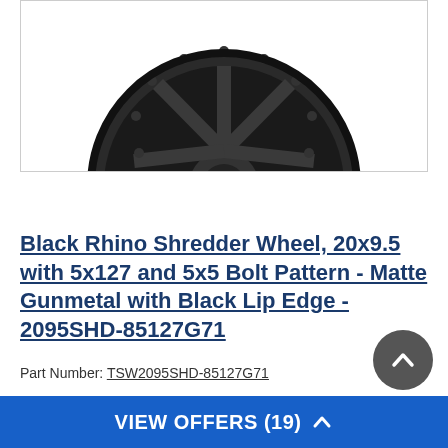[Figure (photo): Black Rhino Shredder wheel in matte gunmetal with black lip edge, shown from a front angle. The wheel has an aggressive multi-spoke design with circular cutouts around the rim.]
Black Rhino Shredder Wheel, 20x9.5 with 5x127 and 5x5 Bolt Pattern - Matte Gunmetal with Black Lip Edge - 2095SHD-85127G71
Part Number: TSW2095SHD-85127G71
[Figure (logo): Universal Fit badge icon with checkmark arrows]
UNIVERSAL FIT
VIEW OFFERS (19)